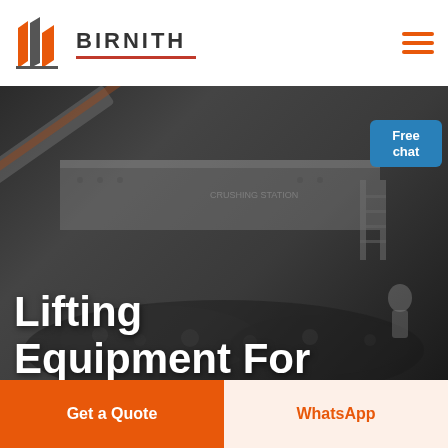[Figure (logo): Birnith company logo with orange and grey building/pillar icon and brand name BIRNITH in bold uppercase letters]
[Figure (photo): Industrial mining crushing station with large machinery, conveyor belts, coal/rock piles, dark moody industrial background with a customer service representative image in top right corner]
Lifting Equipment For Mine Sites
Free chat
Get a Quote
WhatsApp